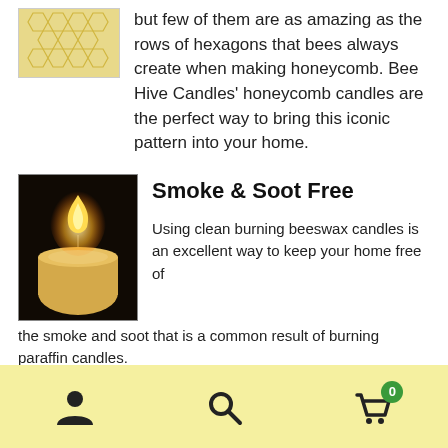but few of them are as amazing as the rows of hexagons that bees always create when making honeycomb. Bee Hive Candles' honeycomb candles are the perfect way to bring this iconic pattern into your home.
[Figure (photo): Photo of a lit beeswax candle with flame against dark background]
Smoke & Soot Free
Using clean burning beeswax candles is an excellent way to keep your home free of the smoke and soot that is a common result of burning paraffin candles.
When burned in a draft free environment with the wick trimmed to 1/4" a beeswax candle will burn bright and clean
Navigation bar with user, search, and cart (0) icons